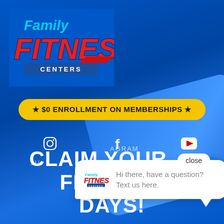[Figure (logo): Family Fitness Centers logo with 'Family' in light blue cursive, 'FITNESS' in large red bold italic text, and 'CENTERS' in white on dark blue banner]
★ $0 ENROLLMENT ON MEMBERSHIPS ★
[Figure (infographic): Social media icons: Instagram, Facebook, YouTube (white icons on blue background)]
[Figure (screenshot): Chat bubble popup showing Family Fitness Centers logo and text: 'Hi there, have a question? Text us here.' with a close button]
CLAIM YOUR FREE 1 DAYS!